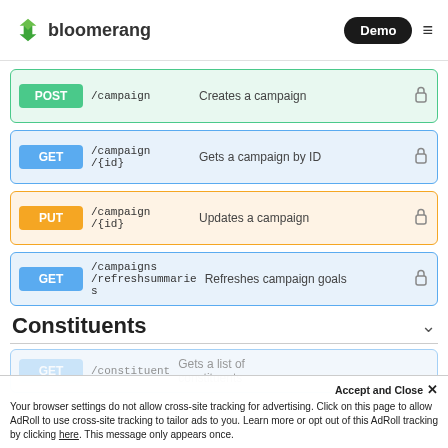bloomerang | Demo
POST /campaign – Creates a campaign
GET /campaign/{id} – Gets a campaign by ID
PUT /campaign/{id} – Updates a campaign
GET /campaigns/refreshsummaries – Refreshes campaign goals
Constituents
GET /constituent – Gets a list of constituents
Accept and Close ×
Your browser settings do not allow cross-site tracking for advertising. Click on this page to allow AdRoll to use cross-site tracking to tailor ads to you. Learn more or opt out of this AdRoll tracking by clicking here. This message only appears once.